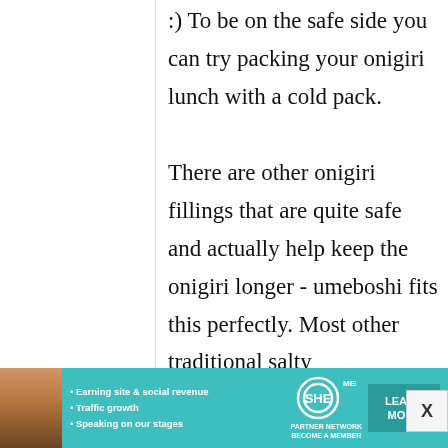:) To be on the safe side you can try packing your onigiri lunch with a cold pack. There are other onigiri fillings that are quite safe and actually help keep the onigiri longer - umeboshi fits this perfectly. Most other traditional salty
[Figure (infographic): Advertisement banner for SHE Partner Network featuring a woman's photo, bullet points about earning site & social revenue, traffic growth, speaking on stages, SHE logo, and a Learn More button]